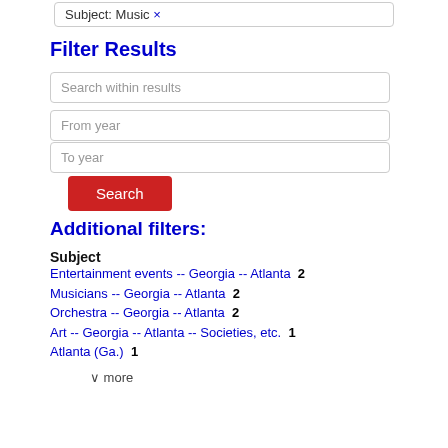Subject: Music ×
Filter Results
Search within results
From year
To year
Search
Additional filters:
Subject
Entertainment events -- Georgia -- Atlanta  2
Musicians -- Georgia -- Atlanta  2
Orchestra -- Georgia -- Atlanta  2
Art -- Georgia -- Atlanta -- Societies, etc.  1
Atlanta (Ga.)  1
∨ more